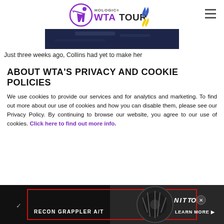Hologic WTA Tour
[Figure (photo): Dark photo strip showing a tennis-related scene, partially cropped]
Just three weeks ago, Collins had yet to make her
ABOUT WTA'S PRIVACY AND COOKIE POLICIES
We use cookies to provide our services and for analytics and marketing. To find out more about our use of cookies and how you can disable them, please see our Privacy Policy. By continuing to browse our website, you agree to our use of cookies. Click here to find out more info.
[Figure (screenshot): Nitto Recon Grappler A/T advertisement banner with tire image]